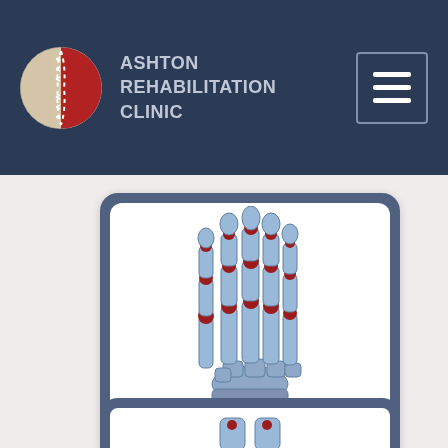[Figure (logo): Ashton Rehabilitation Clinic logo: baseball-like circle with red and beige halves and white stitching]
ASHTON REHABILITATION CLINIC
[Figure (illustration): Hand X-ray illustration with red highlighted joint pain points at finger joints and knuckles, shown as skeletal anatomy]
HAND PAIN
[Figure (illustration): Partially visible card below showing another body part illustration]